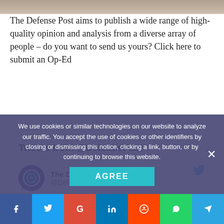[Figure (photo): Top image strip of a photo (cropped, mostly obscured)]
The Defense Post aims to publish a wide range of high-quality opinion and analysis from a diverse array of people – do you want to send us yours? Click here to submit an Op-Ed
[Figure (screenshot): Twitter/X widget showing Tweets from @DefensePost, with a tweet from The Defense Post (@DefensePost · 57m) reading: Canada extends at-sea support services contract with Federal Fleet Services for its Resolve-class support ship MV Asterix, with a link thedefensepost.com/2022/09/01/can...]
We use cookies or similar technologies on our website to analyze our traffic. You accept the use of cookies or other identifiers by closing or dismissing this notice, clicking a link, button, or by continuing to browse this website.